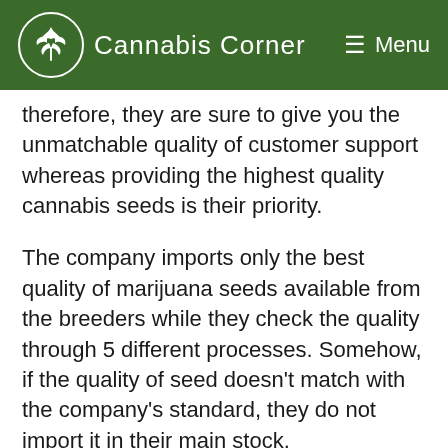Cannabis Corner  Menu
therefore, they are sure to give you the unmatchable quality of customer support whereas providing the highest quality cannabis seeds is their priority.
The company imports only the best quality of marijuana seeds available from the breeders while they check the quality through 5 different processes. Somehow, if the quality of seed doesn’t match with the company’s standard, they do not import it in their main stock.
That is why this company has pride in its quality of seeds and customer support team.
The store comes to...